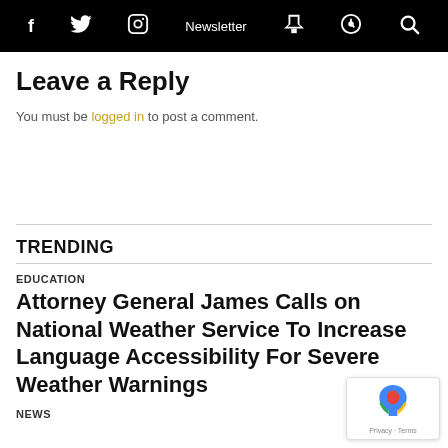f  Twitter  Instagram  Newsletter  Cart  Podcast  Search
Leave a Reply
You must be logged in to post a comment.
TRENDING
EDUCATION
Attorney General James Calls on National Weather Service To Increase Language Accessibility For Severe Weather Warnings
NEWS